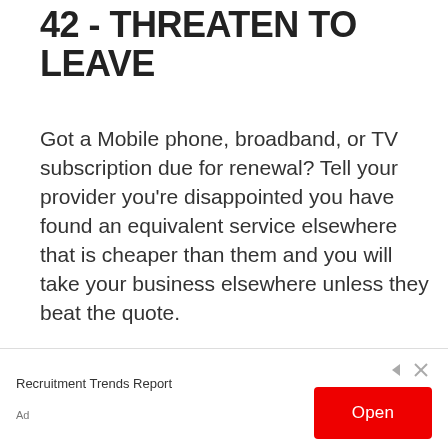42 - THREATEN TO LEAVE
Got a Mobile phone, broadband, or TV subscription due for renewal? Tell your provider you're disappointed you have found an equivalent service elsewhere that is cheaper than them and you will take your business elsewhere unless they beat the quote.
Recruitment Trends Report  Open  Ad